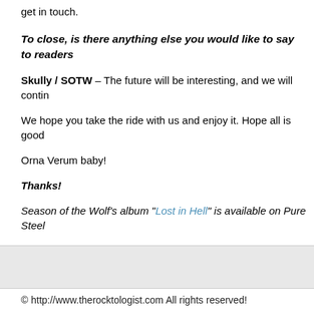get in touch.
To close, is there anything else you would like to say to readers
Skully / SOTW – The future will be interesting, and we will contin
We hope you take the ride with us and enjoy it. Hope all is good
Orna Verum baby!
Thanks!
Season of the Wolf's album "Lost in Hell" is available on Pure Steel
© http://www.therocktologist.com All rights reserved!